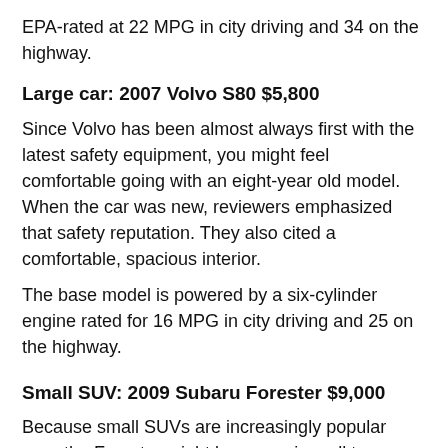EPA-rated at 22 MPG in city driving and 34 on the highway.
Large car: 2007 Volvo S80 $5,800
Since Volvo has been almost always first with the latest safety equipment, you might feel comfortable going with an eight-year old model. When the car was new, reviewers emphasized that safety reputation. They also cited a comfortable, spacious interior.
The base model is powered by a six-cylinder engine rated for 16 MPG in city driving and 25 on the highway.
Small SUV: 2009 Subaru Forester $9,000
Because small SUVs are increasingly popular now, the Forester might be an easier sell to your teenager than some alternatives. The maximum cargo space of 68.3 cubic feet gives plenty of room for sports gear. When it was new, reviewers noted the Forester's safety and practicality. Like all Subarus, this one has all-wheel drive.
The base model Forester is powered by a 170 horsepower...